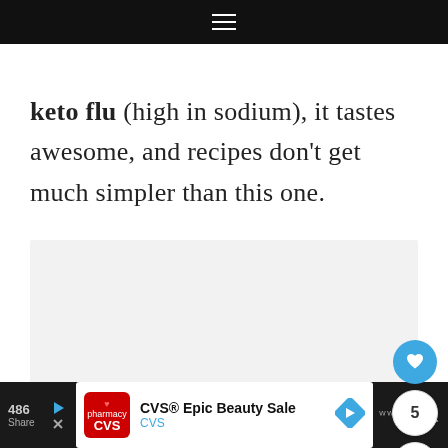≡
keto flu (high in sodium), it tastes awesome, and recipes don't get much simpler than this one.
[Figure (other): Light gray placeholder content box]
[Figure (other): Floating action buttons: heart/like button (blue circle with heart icon), count badge showing '5', and share button (white circle with share icon)]
486 Share | CVS® Epic Beauty Sale CVS